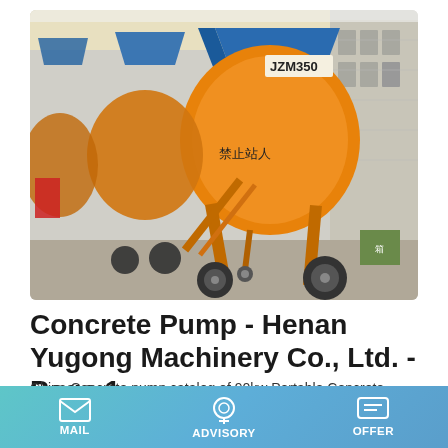[Figure (photo): Several orange JZM350 concrete mixer machines parked in a row in an outdoor yard next to a building. The nearest machine prominently shows 'JZM350' label and Chinese characters on it.]
Concrete Pump - Henan Yugong Machinery Co., Ltd. - Page 1.
China Concrete pump catalog of 90kw Portable Concrete Pump Sale, Yg601390es Vertical Distance 280m Hydraulic Concrete Pump provided by China manufacturer - Henan …
MAIL | ADVISORY | OFFER